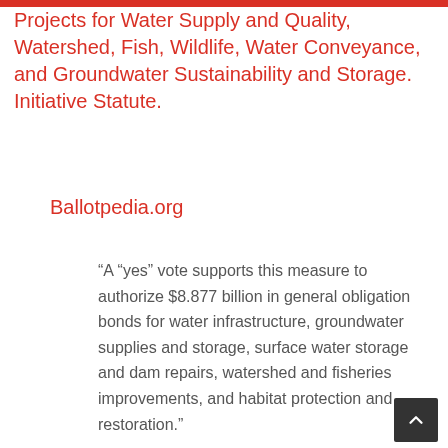Projects for Water Supply and Quality, Watershed, Fish, Wildlife, Water Conveyance, and Groundwater Sustainability and Storage. Initiative Statute.
Ballotpedia.org
“A “yes” vote supports this measure to authorize $8.877 billion in general obligation bonds for water infrastructure, groundwater supplies and storage, surface water storage and dam repairs, watershed and fisheries improvements, and habitat protection and restoration.”